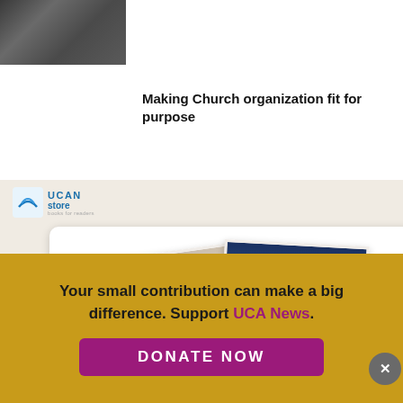[Figure (photo): Small photo showing people in military or crowd scene, partial view at top left]
Making Church organization fit for purpose
[Figure (screenshot): UCAN Store advertisement panel showing Pope Francis and Vatican images with special ebooks sidebar]
Your small contribution can make a big difference. Support UCA News.
DONATE NOW